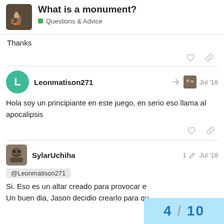What is a monument?
Questions & Advice
Thanks
Leonmatison271  Jul '18
Hola soy un principiante en este juego, en serio eso llama al apocalipsis
SylarUchiha  1  Jul '18
@Leonmatison271
Si. Eso es un altar creado para provocar e
Un buen dia, Jason decidio crearlo para qu
4 / 10